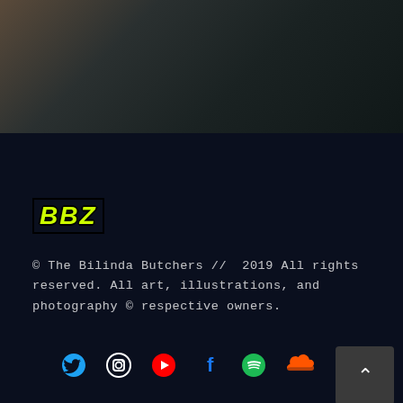[Figure (photo): Blurred dark background image, brownish-grey tones in upper left fading to dark greenish-black]
BBZ
© The Bilinda Butchers // 2019 All rights reserved. All art, illustrations, and photography © respective owners.
[Figure (other): Row of social media icons: Twitter (blue bird), Instagram (outline camera), YouTube (red play button), Facebook (blue f), Spotify (green circle), SoundCloud (orange waveform), plus a scroll-to-top button]